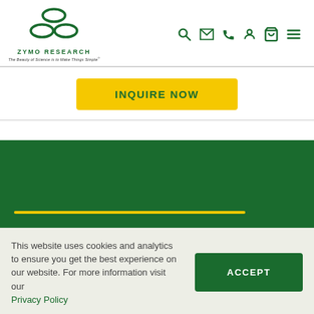[Figure (logo): Zymo Research logo with three oval shapes arranged in a triangular pattern, green color, with text 'ZYMO RESEARCH' and tagline 'The Beauty of Science is to Make Things Simple']
[Figure (infographic): Navigation icons: search (magnifying glass), email (envelope), phone, user/account, cart, and hamburger menu — all in green]
INQUIRE NOW
[Figure (other): Dark green section with a yellow horizontal line]
This website uses cookies and analytics to ensure you get the best experience on our website. For more information visit our Privacy Policy
ACCEPT